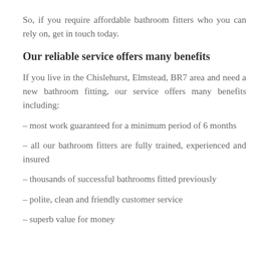So, if you require affordable bathroom fitters who you can rely on, get in touch today.
Our reliable service offers many benefits
If you live in the Chislehurst, Elmstead, BR7 area and need a new bathroom fitting, our service offers many benefits including:
– most work guaranteed for a minimum period of 6 months
– all our bathroom fitters are fully trained, experienced and insured
– thousands of successful bathrooms fitted previously
– polite, clean and friendly customer service
– superb value for money